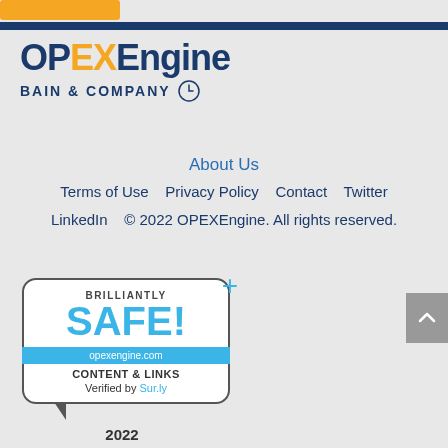[Figure (logo): Orange rectangle button at top left]
[Figure (logo): OPEXEngine Bain & Company logo with navy and orange text]
About Us
Terms of Use    Privacy Policy    Contact    Twitter
LinkedIn    © 2022 OPEXEngine. All rights reserved.
[Figure (infographic): Brilliantly SAFE! badge with opexengine.com, Content & Links Verified by Sur.ly, 2022]
[Figure (other): Scroll to top button (grey with up arrow)]